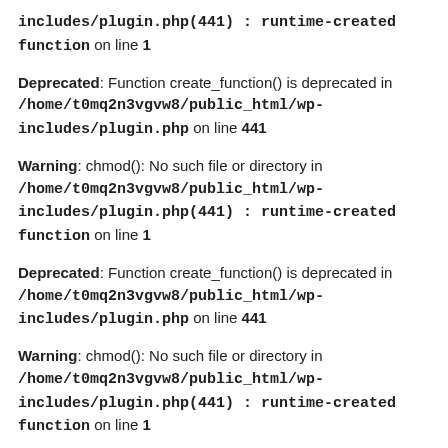includes/plugin.php(441) : runtime-created function on line 1
Deprecated: Function create_function() is deprecated in /home/t0mq2n3vgvw8/public_html/wp-includes/plugin.php on line 441
Warning: chmod(): No such file or directory in /home/t0mq2n3vgvw8/public_html/wp-includes/plugin.php(441) : runtime-created function on line 1
Deprecated: Function create_function() is deprecated in /home/t0mq2n3vgvw8/public_html/wp-includes/plugin.php on line 441
Warning: chmod(): No such file or directory in /home/t0mq2n3vgvw8/public_html/wp-includes/plugin.php(441) : runtime-created function on line 1